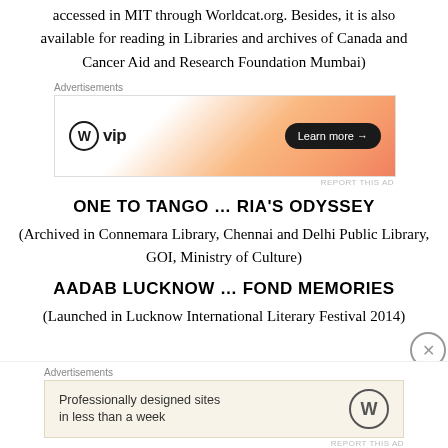accessed in MIT through Worldcat.org. Besides, it is also available for reading in Libraries and archives of Canada and Cancer Aid and Research Foundation Mumbai)
[Figure (other): WordPress VIP advertisement banner with orange gradient background and 'Learn more →' button]
ONE TO TANGO … RIA'S ODYSSEY
(Archived in Connemara Library, Chennai and Delhi Public Library, GOI, Ministry of Culture)
AADAB LUCKNOW … FOND MEMORIES
(Launched in Lucknow International Literary Festival 2014)
[Figure (other): WordPress advertisement banner with beige background: 'Professionally designed sites in less than a week']